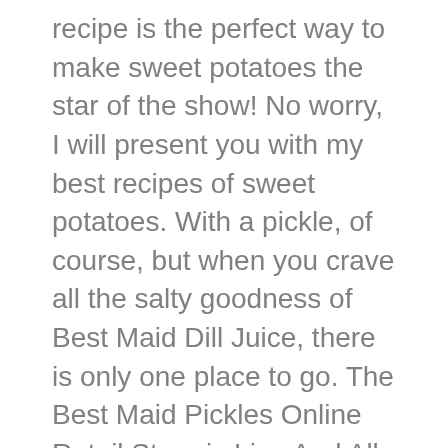recipe is the perfect way to make sweet potatoes the star of the show! No worry, I will present you with my best recipes of sweet potatoes. With a pickle, of course, but when you crave all the salty goodness of Best Maid Dill Juice, there is only one place to go. The Best Maid Pickles Online Retail Store is Live And All of Your Best Maid Pickles Salad Dressing 1 Gallon Are Available For Purchase. How to make Southern Candied Yams Recipe that's so delicious and perfect for any dinner table. Candied yams are a classic of the Southern table, but most recipes suffer from a fatal flaw: a sauce that breaks into sugar and grease in the oven. I didn't think I'd be a fan of candied sweet potatoes, but these turned out delicious. Best Maid Dill Juice One Gallon. Region: Sicily. ANGIE'S CANDIED YAMS. Sweet potatoes are cooked until tender and soft in a buttery and sweet glaze filled